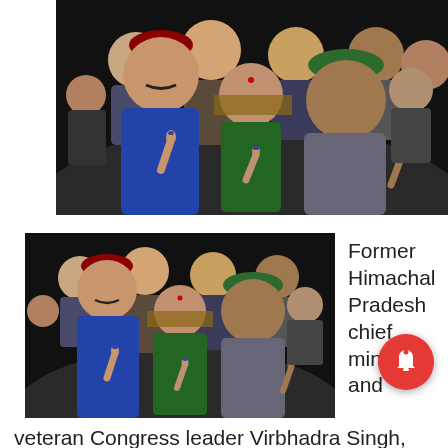[Figure (photo): Group photo of several people including a young man in a red Himachali cap and blue jacket showing inked finger, a woman in a purple dupatta showing inked finger, and an elderly man in a green Himachali cap and grey suit showing inked finger, along with a crowd of people behind them. Black background/border around the photo.]
[Figure (photo): Same group photo repeated at smaller size - people showing inked fingers after voting, including young man in red cap and elderly man in green cap. Black background/border around the photo.]
Former Himachal Pradesh chief minister and veteran Congress leader Virbhadra Singh, who